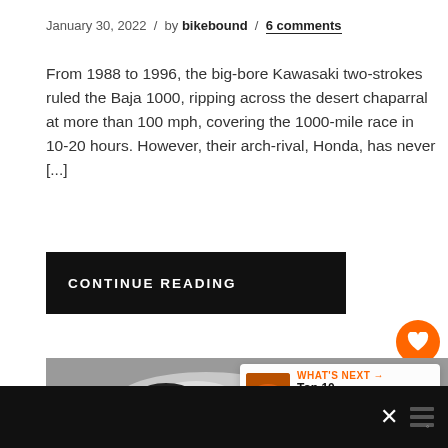January 30, 2022 / by bikebound / 6 comments
From 1988 to 1996, the big-bore Kawasaki two-strokes ruled the Baja 1000, ripping across the desert chaparral at more than 100 mph, covering the 1000-mile race in 10-20 hours. However, their arch-rival, Honda, has never [...]
CONTINUE READING
[Figure (photo): Custom silver motorcycle with red frame, parked in front of a concrete wall. The bike has a sporty fairing and exposed engine components.]
WHAT'S NEXT → Top 10 Scramblers ...